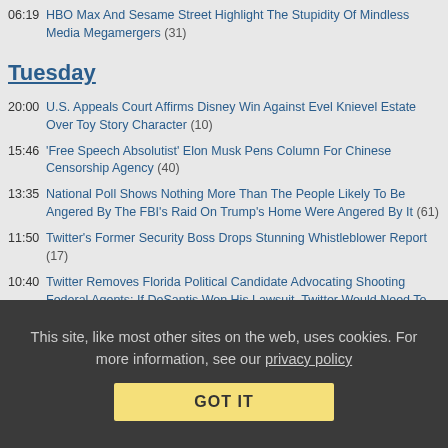06:19 HBO Max And Sesame Street Highlight The Stupidity Of Mindless Media Megamergers (31)
Tuesday
20:00 U.S. Appeals Court Affirms Disney Win Against Evel Knievel Estate Over Toy Story Character (10)
15:46 'Free Speech Absolutist' Elon Musk Pens Column For Chinese Censorship Agency (40)
13:35 National Poll Shows Nothing More Than The People Likely To Be Angered By The FBI's Raid On Trump's Home Were Angered By It (61)
11:50 Twitter's Former Security Boss Drops Stunning Whistleblower Report (17)
10:40 Twitter Removes Florida Political Candidate Advocating Shooting Federal Agents; If DeSantis Won His Lawsuit, Twitter Would Need To Leave It Up (49)
10:35 Daily Deal: Mobile Pixels Duex Max + Mini Mouse Bundle (0)
09:10 25 Years Ago Today... Techdirt Got Started! (34)
This site, like most other sites on the web, uses cookies. For more information, see our privacy policy
GOT IT